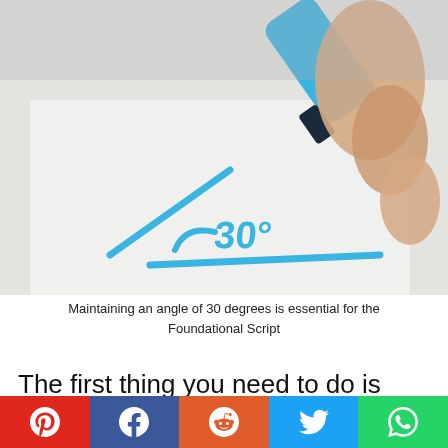[Figure (photo): Close-up photo of a hand holding a blue marker/highlighter drawing a 30-degree angle on white paper. The angle is drawn in blue with '30°' written inside it.]
Maintaining an angle of 30 degrees is essential for the Foundational Script
The first thing you need to do is hold your highlighter like you would any other writing utensil.